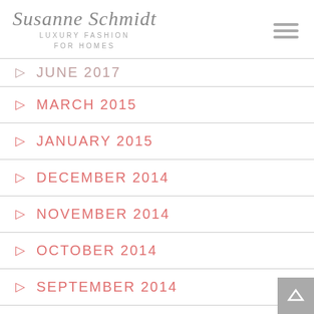Susanne Schmidt LUXURY FASHION FOR HOMES
JUNE 2017
MARCH 2015
JANUARY 2015
DECEMBER 2014
NOVEMBER 2014
OCTOBER 2014
SEPTEMBER 2014